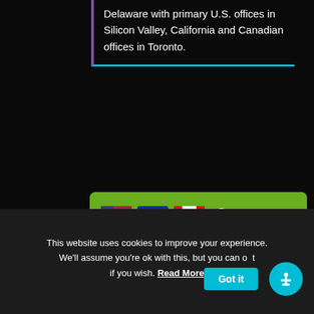Delaware with primary U.S. offices in Silicon Valley, California and Canadian offices in Toronto.
[Figure (infographic): Green uptime bar with US, EU, and Canadian flags and '100% UPTIME' text with checkmark]
[Figure (infographic): Social media icons: Facebook, Twitter, LinkedIn, Instagram, YouTube, RSS]
[Figure (infographic): Button: VIEW SYSTEM UPDATES AND NOTIFICATIONS]
This website uses cookies to improve your experience. We'll assume you're ok with this, but you can opt out if you wish. Read More